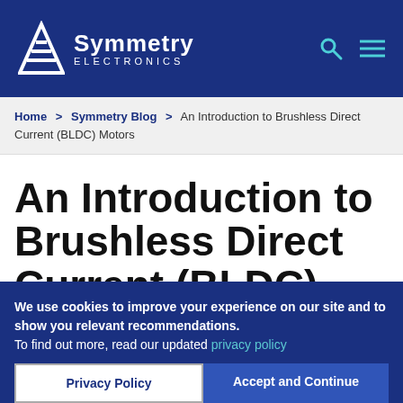Symmetry Electronics
Home > Symmetry Blog > An Introduction to Brushless Direct Current (BLDC) Motors
An Introduction to Brushless Direct Current (BLDC) Motors
We use cookies to improve your experience on our site and to show you relevant recommendations. To find out more, read our updated privacy policy